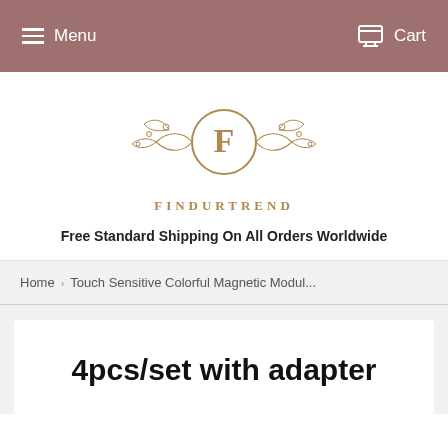Menu   Cart
[Figure (logo): Findurtrend logo: decorative ornamental frame with circle containing letter F, ornate scrollwork on both sides]
FINDURTREND
Free Standard Shipping On All Orders Worldwide
Home › Touch Sensitive Colorful Magnetic Modul...
4pcs/set with adapter